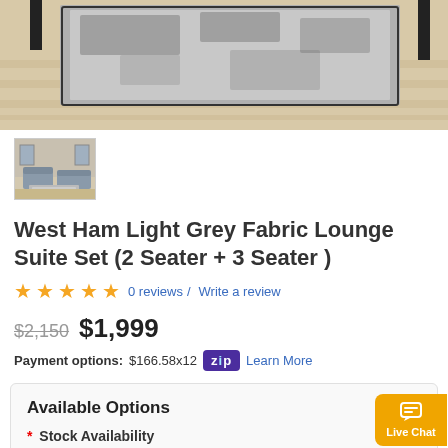[Figure (photo): Top portion of a grey rug on a light wood floor, partially cropped at top]
[Figure (photo): Thumbnail image of a light grey fabric lounge suite set in a living room setting]
West Ham Light Grey Fabric Lounge Suite Set (2 Seater + 3 Seater )
★★★★★ 0 reviews / Write a review
$2,150 $1,999
Payment options: $166.58x12 zip Learn More
Available Options
* Stock Availability